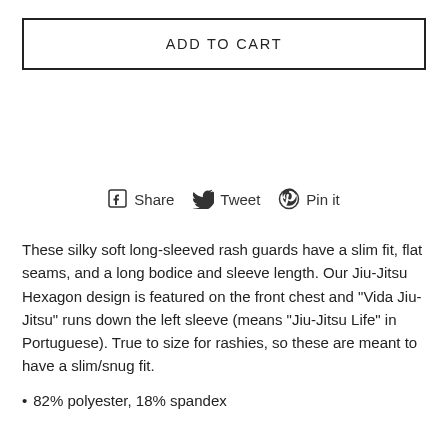ADD TO CART
[Figure (infographic): Social sharing buttons row with Facebook Share, Twitter Tweet, and Pinterest Pin it icons and labels]
These silky soft long-sleeved rash guards have a slim fit, flat seams, and a long bodice and sleeve length. Our Jiu-Jitsu Hexagon design is featured on the front chest and "Vida Jiu-Jitsu" runs down the left sleeve (means "Jiu-Jitsu Life" in Portuguese). True to size for rashies, so these are meant to have a slim/snug fit.
82% polyester, 18% spandex